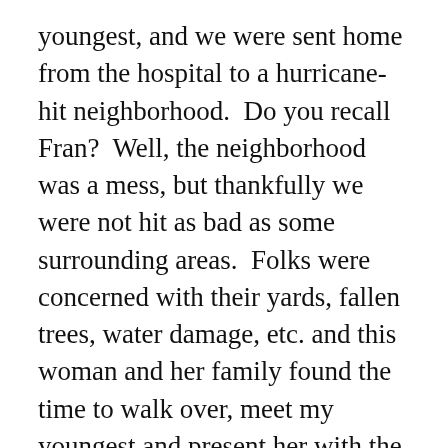youngest, and we were sent home from the hospital to a hurricane-hit neighborhood.  Do you recall Fran?  Well, the neighborhood was a mess, but thankfully we were not hit as bad as some surrounding areas.  Folks were concerned with their yards, fallen trees, water damage, etc. and this woman and her family found the time to walk over, meet my youngest and present her with the softest baby blanket that I have ever touched.  One detail that I left out… we had NOT even met this family, yet!  This was one of the kindest gestures that I had ever experienced, and I can honestly say – one that I will never forget.